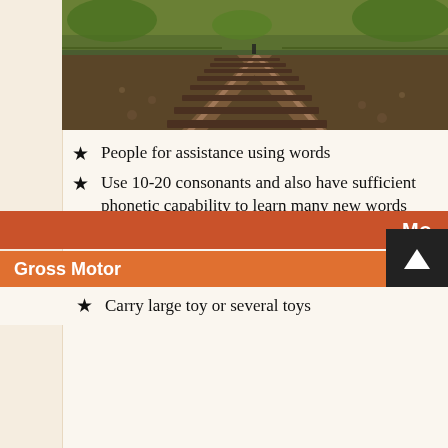[Figure (photo): Railroad tracks stretching into the distance, surrounded by green foliage and gravel]
People for assistance using words
Use 10-20 consonants and also have sufficient phonetic capability to learn many new words
Use two pronouns (e.g. “you”, “me”, “mine”)
Hold book the proper way up and switch pages
Pretends to see to toy or toy
Mo
Gross Motor
Carry large toy or several toys